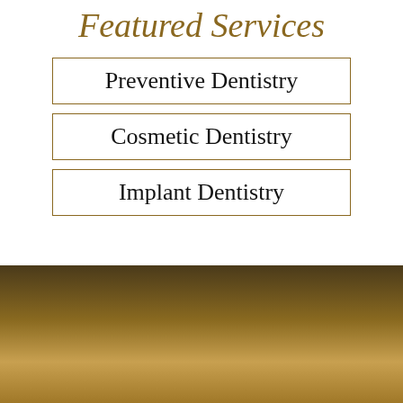Featured Services
Preventive Dentistry
Cosmetic Dentistry
Implant Dentistry
Sitemap & Services
Home
Our Team
Office Tour